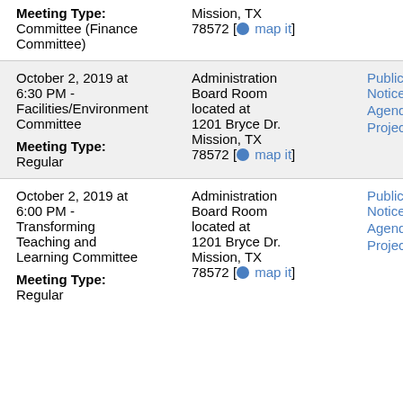Meeting Type: Committee (Finance Committee) | Mission, TX 78572 [map it]
October 2, 2019 at 6:30 PM - Facilities/Environment Committee | Meeting Type: Regular | Administration Board Room located at 1201 Bryce Dr. Mission, TX 78572 [map it] | Public Notice Agenda Projector
October 2, 2019 at 6:00 PM - Transforming Teaching and Learning Committee | Meeting Type: Regular | Administration Board Room located at 1201 Bryce Dr. Mission, TX 78572 [map it] | Public Notice Agenda Projector